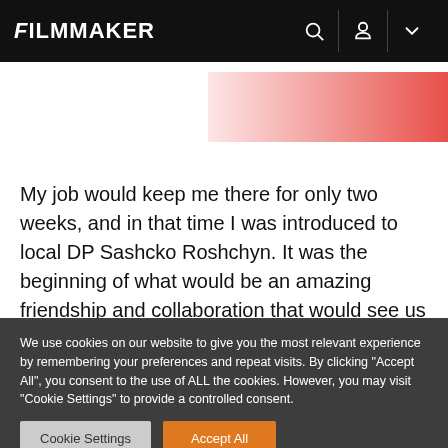FILMMAKER
[Figure (illustration): Pink to red gradient decorative band in upper right area of page]
My job would keep me there for only two weeks, and in that time I was introduced to local DP Sashcko Roshchyn. It was the beginning of what would be an amazing friendship and collaboration that would see us through the next two years.
We use cookies on our website to give you the most relevant experience by remembering your preferences and repeat visits. By clicking "Accept All", you consent to the use of ALL the cookies. However, you may visit "Cookie Settings" to provide a controlled consent.